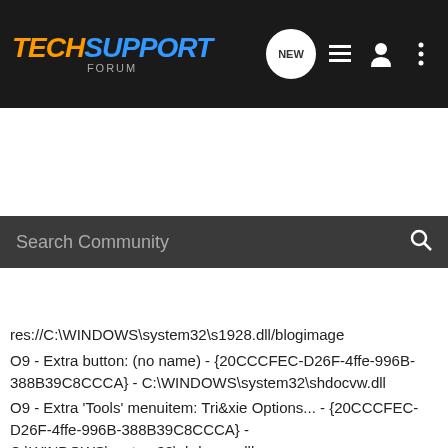TechSupport Forum
Search Community
res://C:\WINDOWS\system32\s1928.dll/blogimage
O9 - Extra button: (no name) - {20CCCFEC-D26F-4ffe-996B-388B39C8CCCA} - C:\WINDOWS\system32\shdocvw.dll
O9 - Extra 'Tools' menuitem: Tri&xie Options... - {20CCCFEC-D26F-4ffe-996B-388B39C8CCCA} - C:\WINDOWS\system32\shdocvw.dll
O9 - Extra button: Pesquisar - {92780B25-18CC-41C8-B9BE-3C9C571A8263} - C:\PROGRA~1\MICROS~2\OFFICE11\REFIEBAR.DLL
O15 - Trusted Zone: *.stumbleupon.com
O16 - DPF: {04E214E5-63AF-4236-83C6-A7ADCBF9BD02} (HouseCall Control) - http://housecall60.trendmicro.com/housecall/xscan60.cab
O16 - DPF: {17492023-C23A-453E-A040-C7C580BBF700} (Windows Genuine Advantage Validation Tool) - http://go.microsoft.com/fwlink/?linkid=39204